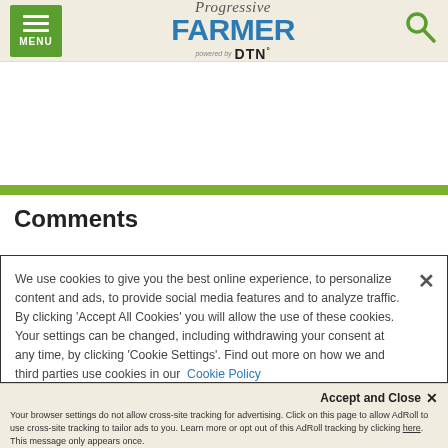MENU | Progressive Farmer powered by DTN
Comments
We use cookies to give you the best online experience, to personalize content and ads, to provide social media features and to analyze traffic. By clicking 'Accept All Cookies' you will allow the use of these cookies. Your settings can be changed, including withdrawing your consent at any time, by clicking 'Cookie Settings'. Find out more on how we and third parties use cookies in our Cookie Policy
Accept and Close ✕
Your browser settings do not allow cross-site tracking for advertising. Click on this page to allow AdRoll to use cross-site tracking to tailor ads to you. Learn more or opt out of this AdRoll tracking by clicking here. This message only appears once.